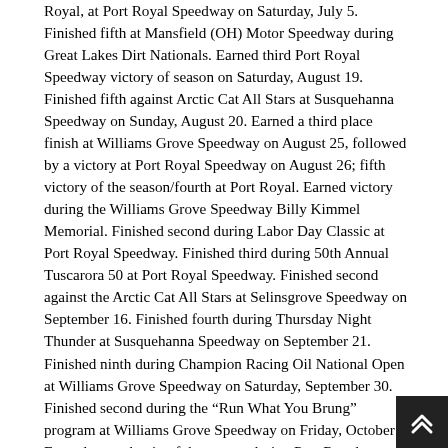Royal, at Port Royal Speedway on Saturday, July 5. Finished fifth at Mansfield (OH) Motor Speedway during Great Lakes Dirt Nationals. Earned third Port Royal Speedway victory of season on Saturday, August 19. Finished fifth against Arctic Cat All Stars at Susquehanna Speedway on Sunday, August 20. Earned a third place finish at Williams Grove Speedway on August 25, followed by a victory at Port Royal Speedway on August 26; fifth victory of the season/fourth at Port Royal. Earned victory during the Williams Grove Speedway Billy Kimmel Memorial. Finished second during Labor Day Classic at Port Royal Speedway. Finished third during 50th Annual Tuscarora 50 at Port Royal Speedway. Finished second against the Arctic Cat All Stars at Selinsgrove Speedway on September 16. Finished fourth during Thursday Night Thunder at Susquehanna Speedway on September 21. Finished ninth during Champion Racing Oil National Open at Williams Grove Speedway on Saturday, September 30. Finished second during the “Run What You Brung” program at Williams Grove Speedway on Friday, October 6. Earned seventh win of the season during Port Royal Speedway’s finale, Open Wheel Madness. Rallied from ninth to finish fourth during Susquehanna Speedway’s Final Showdown. Ended 2017 season